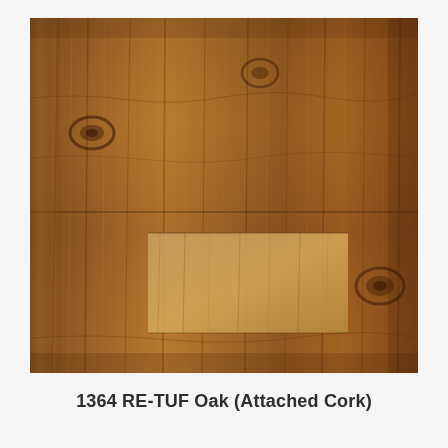[Figure (photo): Close-up photograph of a wood-grain laminate flooring sample showing RE-TUF Oak texture with warm brown tones, visible wood knots and grain patterns, and a lighter rectangular inset section in the lower center.]
1364 RE-TUF Oak (Attached Cork)